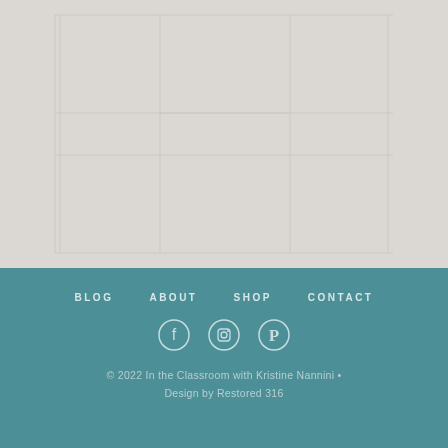[Figure (other): Light gray grid/table layout background occupying the top portion of the page, with subtle grid lines forming rectangular cells on a warm gray background.]
BLOG   ABOUT   SHOP   CONTACT
[Figure (other): Three social media icons in circles: Facebook, Instagram, Pinterest — displayed in white/light color on teal background.]
© 2022 In the Classroom with Kristine Nannini • Design by Restored 316